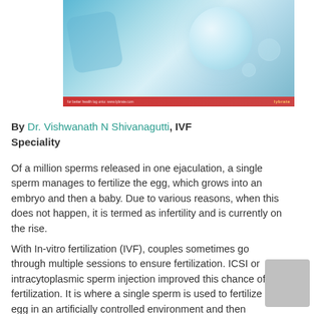[Figure (photo): Close-up image of a human egg/embryo cell with circular forms on a blue/teal background, with a red banner at the bottom showing the lybrate logo]
By Dr. Vishwanath N Shivanagutti, IVF Speciality
Of a million sperms released in one ejaculation, a single sperm manages to fertilize the egg, which grows into an embryo and then a baby. Due to various reasons, when this does not happen, it is termed as infertility and is currently on the rise.
With In-vitro fertilization (IVF), couples sometimes go through multiple sessions to ensure fertilization. ICSI or intracytoplasmic sperm injection improved this chance of fertilization. It is where a single sperm is used to fertilize an egg in an artificially controlled environment and then injected into the uterus where it grows further.